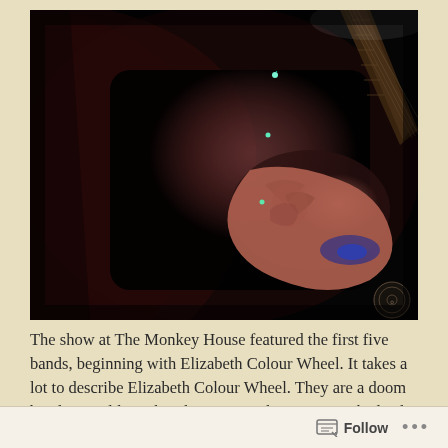[Figure (photo): Dark concert photo showing a guitarist with tattoos playing an electric guitar on stage, with green stage lights visible in the background against a dark backdrop.]
The show at The Monkey House featured the first five bands, beginning with Elizabeth Colour Wheel. It takes a lot to describe Elizabeth Colour Wheel. They are a doom band, I would say, but their approach is unique. The lead singer wanders through the crowd during the performance some of the time – at other times she is
Follow ···